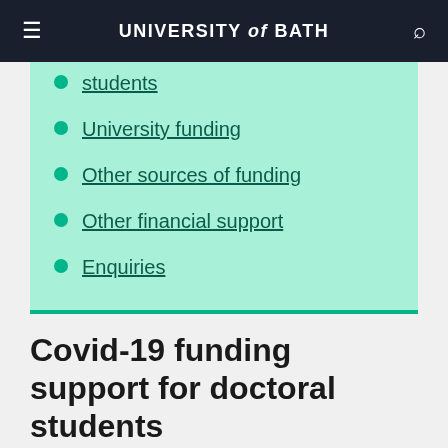UNIVERSITY of BATH
students
University funding
Other sources of funding
Other financial support
Enquiries
Covid-19 funding support for doctoral students
Whether you're in receipt of a funded studentship, are self-funded or are working part-time to fund your research, this is the support available to you.